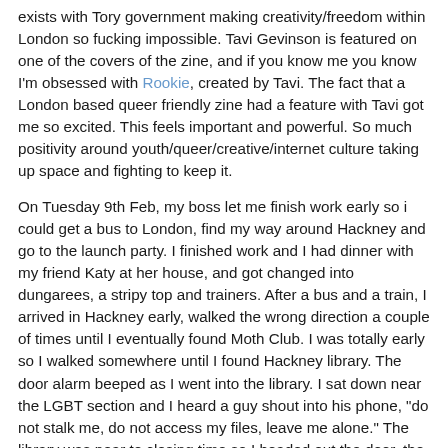exists with Tory government making creativity/freedom within London so fucking impossible. Tavi Gevinson is featured on one of the covers of the zine, and if you know me you know I'm obsessed with Rookie, created by Tavi. The fact that a London based queer friendly zine had a feature with Tavi got me so excited. This feels important and powerful. So much positivity around youth/queer/creative/internet culture taking up space and fighting to keep it.
On Tuesday 9th Feb, my boss let me finish work early so i could get a bus to London, find my way around Hackney and go to the launch party. I finished work and I had dinner with my friend Katy at her house, and got changed into dungarees, a stripy top and trainers. After a bus and a train, I arrived in Hackney early, walked the wrong direction a couple of times until I eventually found Moth Club. I was totally early so I walked somewhere until I found Hackney library. The door alarm beeped as I went into the library. I sat down near the LGBT section and I heard a guy shout into his phone, "do not stalk me, do not access my files, leave me alone." The library was near to closing time so I headed out the door, the alarms wont off as I walked through the barrier